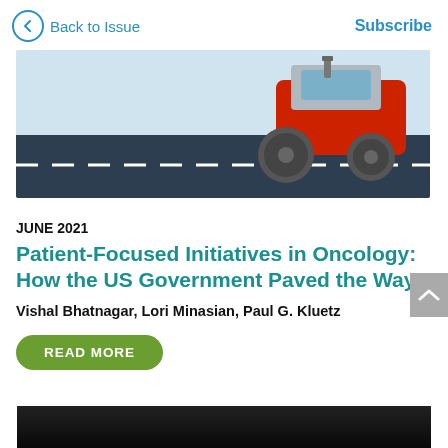Back to Issue  Subscribe
[Figure (illustration): Illustration of a red road roller/compactor paving a dark road with white dashed center line, on a light blue-grey background.]
JUNE 2021
Patient-Focused Initiatives in Oncology: How the US Government Paved the Way
Vishal Bhatnagar, Lori Minasian, Paul G. Kluetz
READ MORE
[Figure (photo): Partial dark image visible at bottom of page, cropped.]